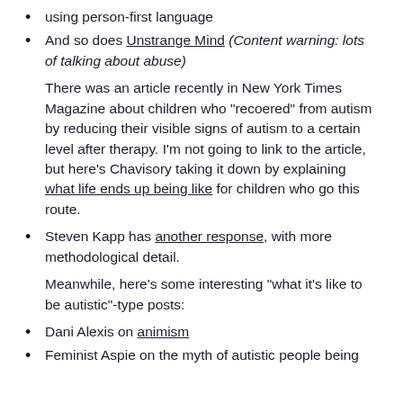using person-first language
And so does Unstrange Mind (Content warning: lots of talking about abuse)
There was an article recently in New York Times Magazine about children who “recoered” from autism by reducing their visible signs of autism to a certain level after therapy. I’m not going to link to the article, but here’s Chavisory taking it down by explaining what life ends up being like for children who go this route.
Steven Kapp has another response, with more methodological detail.
Meanwhile, here’s some interesting “what it’s like to be autistic”-type posts:
Dani Alexis on animism
Feminist Aspie on the myth of autistic people being